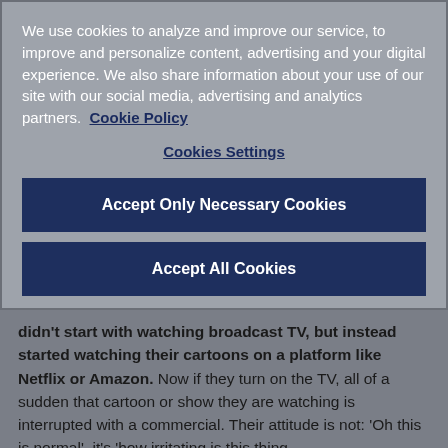We use cookies to analyze and improve our service, to improve and personalize content, advertising and your digital experience. We also share information about your use of our site with our social media, advertising and analytics partners.  Cookie Policy
Cookies Settings
Accept Only Necessary Cookies
Accept All Cookies
didn't start with watching broadcast TV, but instead started watching their cartoons on a platform like Netflix or Amazon. Now if they turn on the TV, all of a sudden that cartoon or show they are watching is interrupted with a commercial. Their attitude is not: 'Oh this is normal', it's 'how irritating is this thing